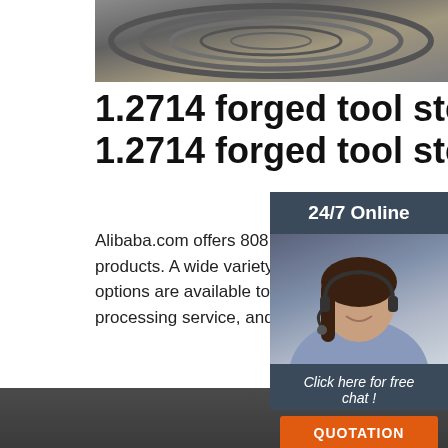[Figure (photo): Rolled steel coils viewed from above, grey/silver metallic texture]
1.2714 forged tool steel, 1.2714 forged tool stee...
Alibaba.com offers 808 1.2714 forged to... products. A wide variety of 1.2714 forged options are available to you, such as sta... processing service, and application.
[Figure (photo): Customer service representative woman with headset, smiling, overlaid on dark blue-grey banner with 24/7 Online text, Click here for free chat and QUOTATION button]
Get Price
[Figure (photo): Steel pipes/tubes stacked horizontally, dark grey, industrial setting with TOP logo overlay]